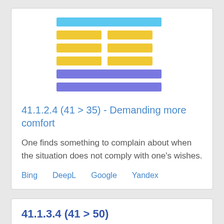[Figure (illustration): Hexagram made of colored bars: one long light-blue bar at top, three rows of two yellow half-bars side by side, two long purple bars at bottom]
41.1.2.4 (41 > 35) - Demanding more comfort
One finds something to complain about when the situation does not comply with one's wishes.
Bing   DeepL   Google   Yandex
41.1.3.4 (41 > 50)